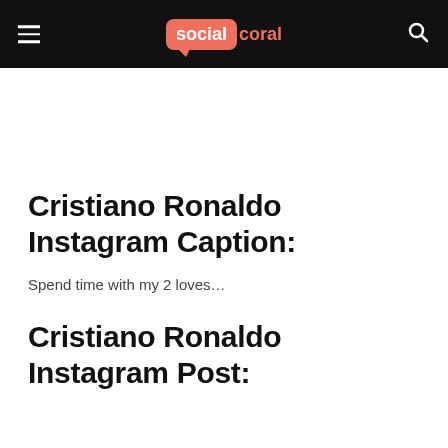social coral
Cristiano Ronaldo Instagram Caption:
Spend time with my 2 loves…
Cristiano Ronaldo Instagram Post: